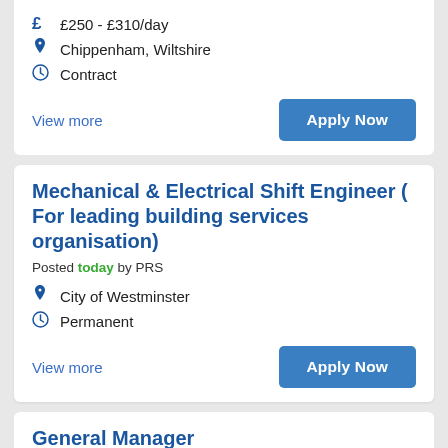£250 - £310/day
Chippenham, Wiltshire
Contract
View more
Apply Now
Mechanical & Electrical Shift Engineer ( For leading building services organisation)
Posted today by PRS
City of Westminster
Permanent
View more
Apply Now
General Manager
Posted today by ATA Recruitment